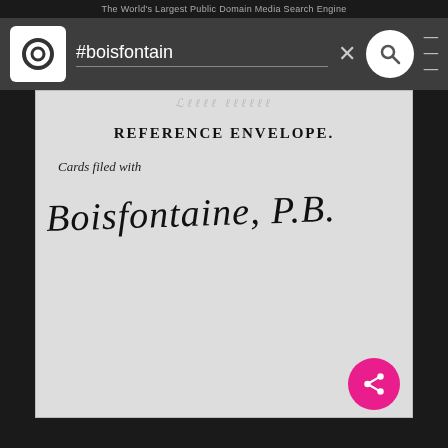The World's Largest Public Domain Media Search Engine
[Figure (screenshot): Pixabay website search bar showing '#boisfontain' query with logo, X close button, search icon, and hamburger menu on dark grey background]
[Figure (photo): Scanned historical document showing a Reference Envelope card with printed text 'REFERENCE ENVELOPE' and 'Cards filed with' followed by handwritten cursive text 'Boisfontaine, P.B.']
REFERENCE ENVELOPE
Cards filed with
Boisfontaine, P.B.